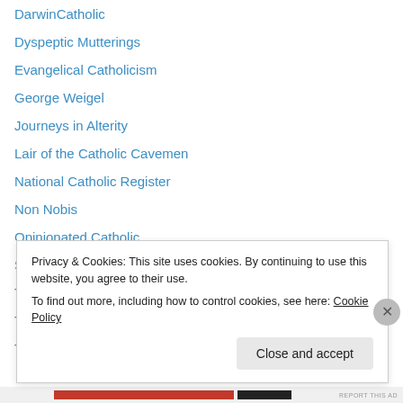DarwinCatholic
Dyspeptic Mutterings
Evangelical Catholicism
George Weigel
Journeys in Alterity
Lair of the Catholic Cavemen
National Catholic Register
Non Nobis
Opinionated Catholic
Standing on My Head
Ten Reasons
The Catholic Thing
The Pertinacious Papist
Privacy & Cookies: This site uses cookies. By continuing to use this website, you agree to their use. To find out more, including how to control cookies, see here: Cookie Policy